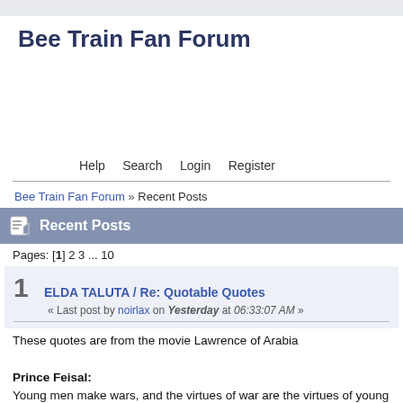Bee Train Fan Forum
Help   Search   Login   Register
Bee Train Fan Forum » Recent Posts
Recent Posts
Pages: [1] 2 3 ... 10
1  ELDA TALUTA / Re: Quotable Quotes
« Last post by noirlax on Yesterday at 06:33:07 AM »
These quotes are from the movie Lawrence of Arabia

Prince Feisal:
Young men make wars, and the virtues of war are the virtues of young men; make the peace, and the vices of peace are the vices of old men mistr...